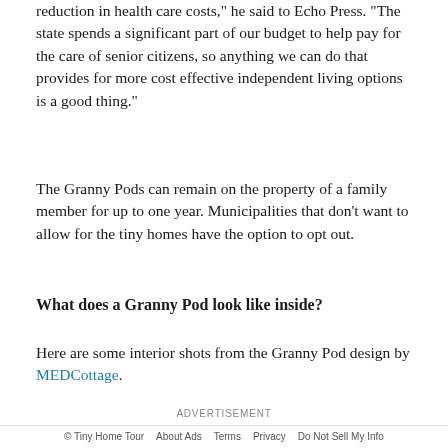reduction in health care costs," he said to Echo Press. "The state spends a significant part of our budget to help pay for the care of senior citizens, so anything we can do that provides for more cost effective independent living options is a good thing."
The Granny Pods can remain on the property of a family member for up to one year. Municipalities that don't want to allow for the tiny homes have the option to opt out.
What does a Granny Pod look like inside?
Here are some interior shots from the Granny Pod design by MEDCottage.
ADVERTISEMENT
The typical features include a primary bedroom, small
© Tiny Home Tour   About Ads   Terms   Privacy   Do Not Sell My Info